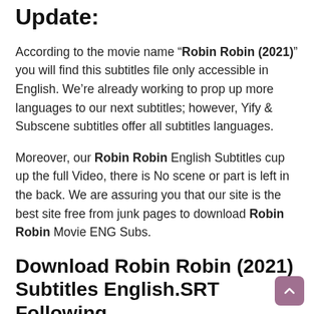Update:
According to the movie name “Robin Robin (2021)” you will find this subtitles file only accessible in English. We’re already working to prop up more languages to our next subtitles; however, Yify & Subscene subtitles offer all subtitles languages.
Moreover, our Robin Robin English Subtitles cup up the full Video, there is No scene or part is left in the back. We are assuring you that our site is the best site free from junk pages to download Robin Robin Movie ENG Subs.
Download Robin Robin (2021) Subtitles English.SRT Following